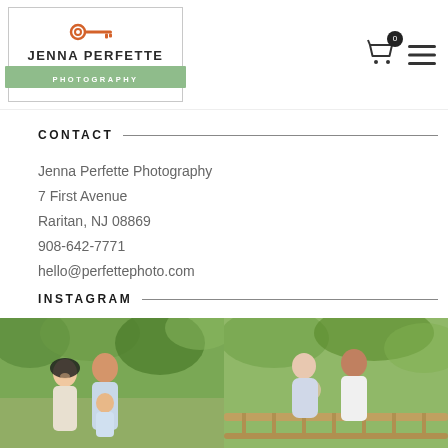[Figure (logo): Jenna Perfette Photography logo with orange key icon, business name in bold, and green bar reading PHOTOGRAPHY]
[Figure (illustration): Shopping cart icon with badge showing 0, and hamburger menu icon]
CONTACT
Jenna Perfette Photography
7 First Avenue
Raritan, NJ 08869
908-642-7771
hello@perfettephoto.com
INSTAGRAM
[Figure (photo): Two Instagram photos side by side: left shows a family of three (woman, man, baby) outdoors in a park; right shows a pregnant couple on a wooden bridge outdoors]